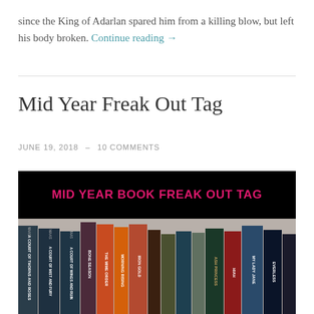since the King of Adarlan spared him from a killing blow, but left his body broken. Continue reading →
Mid Year Freak Out Tag
JUNE 19, 2018  –  10 COMMENTS
[Figure (photo): Blog post image showing a black banner with pink text reading 'MID YEAR BOOK FREAK OUT TAG' above a photo of book spines on a shelf including titles such as A Court of Thorns and Roses, A Court of Mist and Fury, A Court of Wings and Ruin, Bone Season, The Mime Order, Morning Star, Iron Gold, and others.]